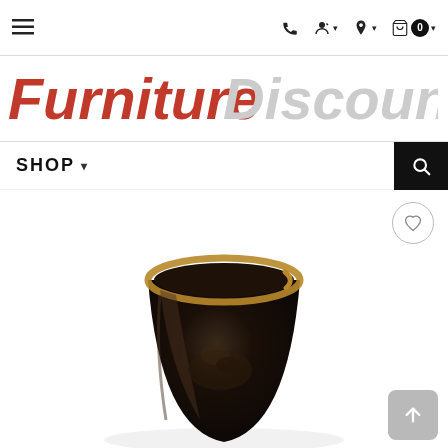Navigation bar with hamburger menu, phone, account, location, and cart (0) icons
[Figure (logo): Furniture Discounters logo — 'Furniture' in bold italic red, 'Discounters' in bold italic light gray]
SHOP ▾
[Figure (photo): Dark cone-shaped wooden bowl or vase with a natural tan rim edge, viewed from above at an angle, against a white background]